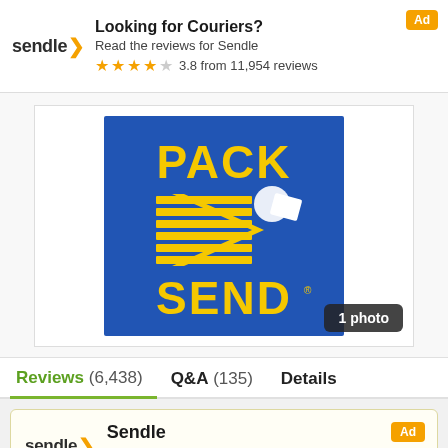[Figure (infographic): Sendle advertisement banner with logo, 'Looking for Couriers?' heading, subtitle, and star rating of 3.8 from 11,954 reviews. Ad badge in top right corner.]
[Figure (logo): PACK & SEND company logo on blue background with yellow text and graphic. Shows '1 photo' badge.]
Reviews (6,438)  Q&A (135)  Details
[Figure (infographic): Sendle advertisement card with logo, 'Sendle' title, star rating 3.8 from 11,954 reviews, and Ad badge.]